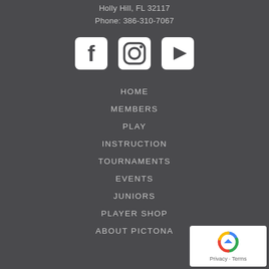Holly Hill, FL 32117
Phone: 386-310-7067
[Figure (illustration): Social media icons: Facebook, Instagram, YouTube]
HOME
MEMBERS
PLAY
INSTRUCTION
TOURNAMENTS
EVENTS
JUNIORS
PLAYER SHOP
ABOUT PICTONA
[Figure (logo): reCAPTCHA badge with Privacy and Terms text]